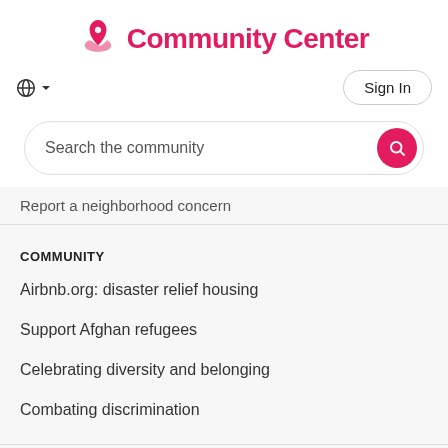Community Center
Sign In
Search the community
Report a neighborhood concern
COMMUNITY
Airbnb.org: disaster relief housing
Support Afghan refugees
Celebrating diversity and belonging
Combating discrimination
HOSTING